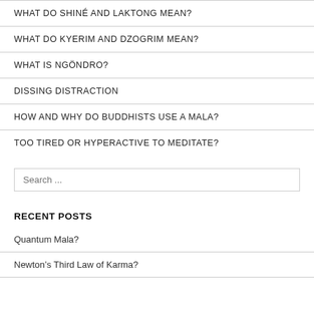WHAT DO SHINÉ AND LAKTONG MEAN?
WHAT DO KYERIM AND DZOGRIM MEAN?
WHAT IS NGÖNDRO?
DISSING DISTRACTION
HOW AND WHY DO BUDDHISTS USE A MALA?
TOO TIRED OR HYPERACTIVE TO MEDITATE?
Search ...
RECENT POSTS
Quantum Mala?
Newton's Third Law of Karma?